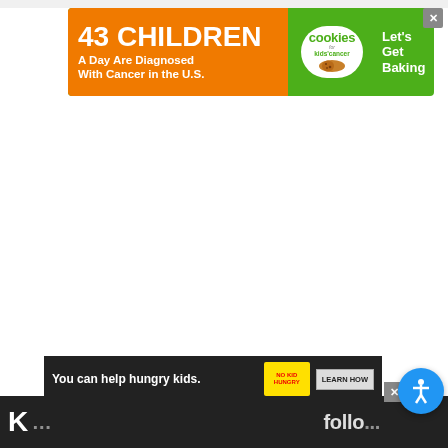[Figure (screenshot): Web page screenshot showing a charity ad banner at top reading '43 CHILDREN A Day Are Diagnosed With Cancer in the U.S. cookies for kids cancer Let's Get Baking', a large blank white content area, floating action buttons (heart/favorite and share), a 'WHAT'S NEXT' panel showing 'Keurig K-Select Revie...', an accessibility button, a bottom ad reading 'You can help hungry kids. NO KID HUNGRY LEARN HOW', and a dark footer bar with 'K' and 'follo...' text.]